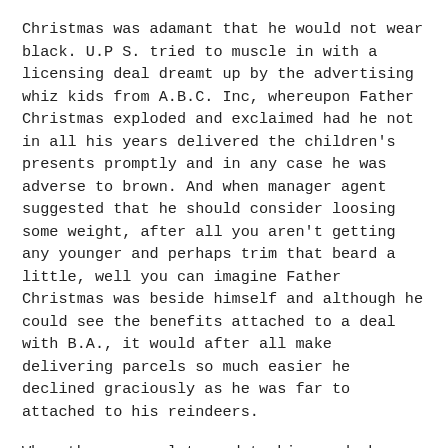Christmas was adamant that he would not wear black. U.P S. tried to muscle in with a licensing deal dreamt up by the advertising whiz kids from A.B.C. Inc, whereupon Father Christmas exploded and exclaimed had he not in all his years delivered the children's presents promptly and in any case he was adverse to brown. And when manager agent suggested that he should consider loosing some weight, after all you aren't getting any younger and perhaps trim that beard a little, well you can imagine Father Christmas was beside himself and although he could see the benefits attached to a deal with B.A., it would after all make delivering parcels so much easier he declined graciously as he was far to attached to his reindeers.
When the proposal to update his wardrobe was put forward he was a little hesitant but the new stream lined ski-wear he had to admit was